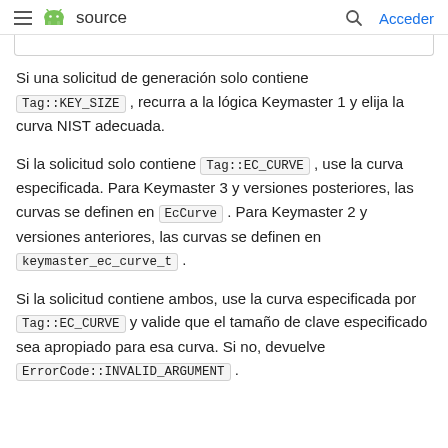≡ 🤖 source   🔍 Acceder
Si una solicitud de generación solo contiene Tag::KEY_SIZE , recurra a la lógica Keymaster 1 y elija la curva NIST adecuada.
Si la solicitud solo contiene Tag::EC_CURVE , use la curva especificada. Para Keymaster 3 y versiones posteriores, las curvas se definen en EcCurve . Para Keymaster 2 y versiones anteriores, las curvas se definen en keymaster_ec_curve_t .
Si la solicitud contiene ambos, use la curva especificada por Tag::EC_CURVE y valide que el tamaño de clave especificado sea apropiado para esa curva. Si no, devuelve ErrorCode::INVALID_ARGUMENT .